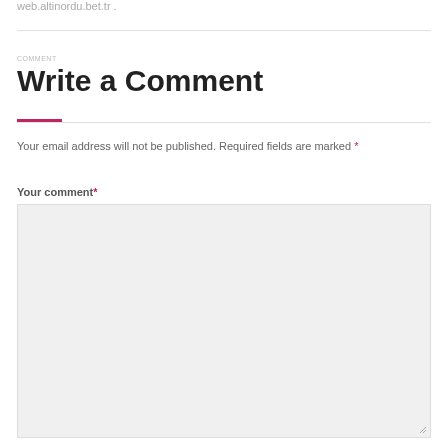web.altinordu.bet.tr .
Write a Comment
Your email address will not be published. Required fields are marked *
Your comment*
[Figure (other): Empty comment text area input box with light grey background]